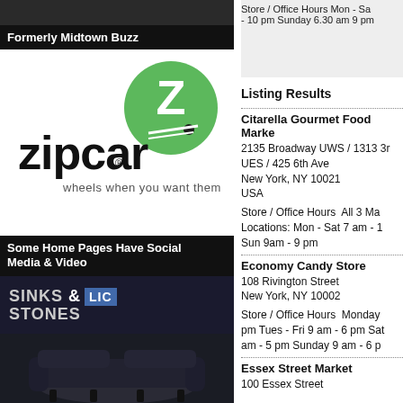[Figure (photo): Dark photo strip at top of left column]
Formerly Midtown Buzz
[Figure (logo): Zipcar logo with green circle and Z, tagline: wheels when you want them]
Some Home Pages Have Social Media & Video
[Figure (logo): Sinks & Stones LIC logo on dark background]
[Figure (photo): Dark leather Chesterfield sofa on dark background]
Store / Office Hours Mon - Sa - 10 pm Sunday 6.30 am 9 pm
Listing Results
Citarella Gourmet Food Market
2135 Broadway UWS / 1313 3r UES / 425 6th Ave New York, NY 10021 USA
Store / Office Hours  All 3 Manhattan Locations: Mon - Sat 7 am - 11 pm Sun 9am - 9 pm
Economy Candy Store
108 Rivington Street New York, NY 10002
Store / Office Hours  Monday 9 am - 6 pm Tues - Fri 9 am - 6 pm Saturday 9 am - 5 pm Sunday 9 am - 6 pm
Essex Street Market
120 Essex Street